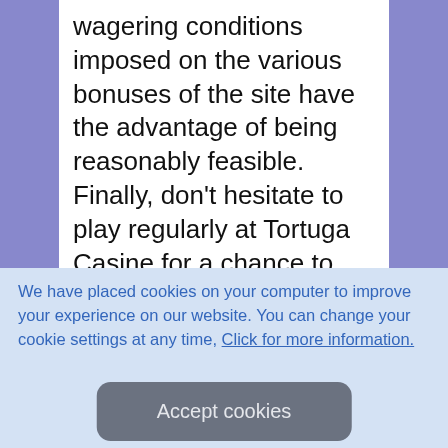wagering conditions imposed on the various bonuses of the site have the advantage of being reasonably feasible. Finally, don't hesitate to play regularly at Tortuga Casine for a chance to reach the top of the loyalty program and see what the captain of the privateers has in store for you in
We have placed cookies on your computer to improve your experience on our website. You can change your cookie settings at any time, Click for more information.
Accept cookies